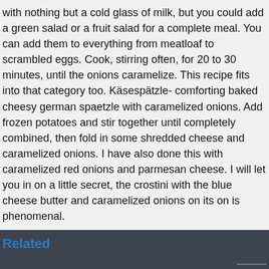with nothing but a cold glass of milk, but you could add a green salad or a fruit salad for a complete meal. You can add them to everything from meatloaf to scrambled eggs. Cook, stirring often, for 20 to 30 minutes, until the onions caramelize. This recipe fits into that category too. Käsespätzle- comforting baked cheesy german spaetzle with caramelized onions. Add frozen potatoes and stir together until completely combined, then fold in some shredded cheese and caramelized onions. I have also done this with caramelized red onions and parmesan cheese. I will let you in on a little secret, the crostini with the blue cheese butter and caramelized onions on its on is phenomenal.
Related
Delhi To Nasik Train, Mountain Dew Or Energy Drink, Sweater Hitam Polos Wanita, Seal A Leaking Shower Floor, Artificial Trees Co2, Witch Beatrice Sign Not There, Hot Onion Dip With Swiss Cheese,